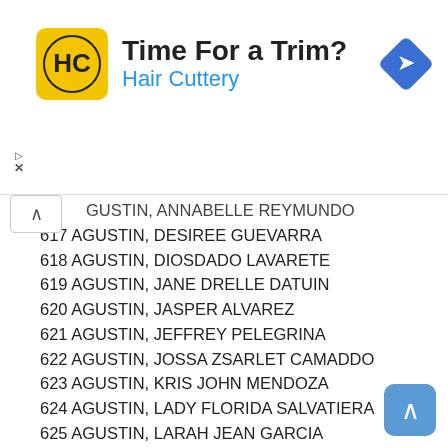[Figure (other): Hair Cuttery advertisement banner with logo, 'Time For a Trim?' heading, and navigation arrow icon]
AGUSTIN, ANNABELLE REYMUNDO
617 AGUSTIN, DESIREE GUEVARRA
618 AGUSTIN, DIOSDADO LAVARETE
619 AGUSTIN, JANE DRELLE DATUIN
620 AGUSTIN, JASPER ALVAREZ
621 AGUSTIN, JEFFREY PELEGRINA
622 AGUSTIN, JOSSA ZSARLET CAMADDO
623 AGUSTIN, KRIS JOHN MENDOZA
624 AGUSTIN, LADY FLORIDA SALVATIERA
625 AGUSTIN, LARAH JEAN GARCIA
626 AGUSTIN, MARJORIE ANCHETA
627 AGUSTIN, MARY JANE BANGGOT
628 AGUSTIN, MYLINE SORIANO
629 AGUSTIN, RAY VINCENT MANAOG
630 AGUSTIN, REGINE ANN YAMBOT
631 AGUSTIN, RICA ANOG
AGUSTIN, RONA DIMAARI (partial)